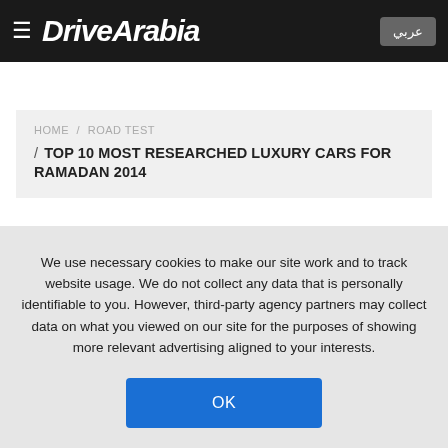DriveArabia — عربي
HOME / ROAD TEST / TOP 10 MOST RESEARCHED LUXURY CARS FOR RAMADAN 2014
We use necessary cookies to make our site work and to track website usage. We do not collect any data that is personally identifiable to you. However, third-party agency partners may collect data on what you viewed on our site for the purposes of showing more relevant advertising aligned to your interests.
OK